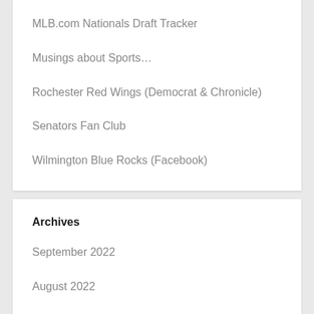MLB.com Nationals Draft Tracker
Musings about Sports…
Rochester Red Wings (Democrat & Chronicle)
Senators Fan Club
Wilmington Blue Rocks (Facebook)
Archives
September 2022
August 2022
July 2022
June 2022